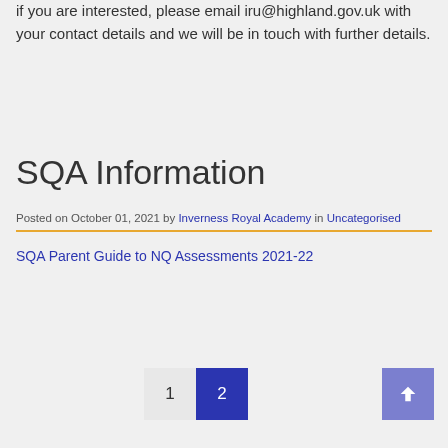if you are interested, please email iru@highland.gov.uk with your contact details and we will be in touch with further details.
SQA Information
Posted on October 01, 2021 by Inverness Royal Academy in Uncategorised
SQA Parent Guide to NQ Assessments 2021-22
1  2